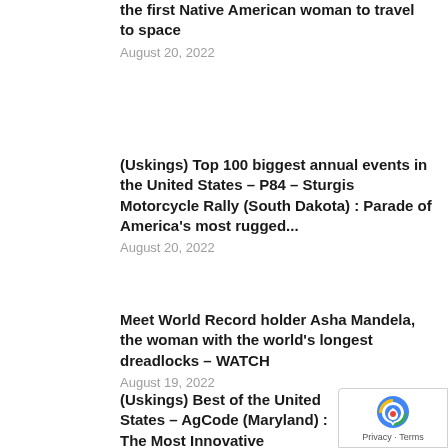the first Native American woman to travel to space
August 20, 2022
(Uskings) Top 100 biggest annual events in the United States – P84 – Sturgis Motorcycle Rally (South Dakota) : Parade of America's most rugged...
August 20, 2022
Meet World Record holder Asha Mandela, the woman with the world's longest dreadlocks – WATCH
August 19, 2022
(Uskings) Best of the United States – AgCode (Maryland) : The Most Innovative Agricultural Start-up in the United S
August 19, 2022